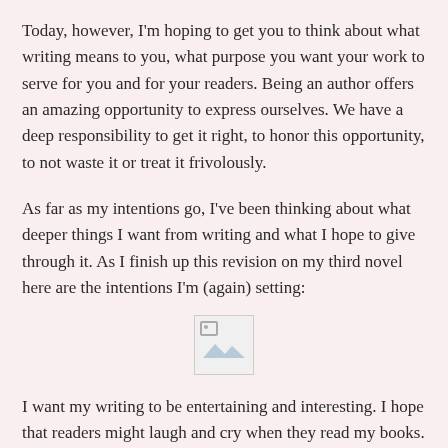Today, however, I'm hoping to get you to think about what writing means to you, what purpose you want your work to serve for you and for your readers. Being an author offers an amazing opportunity to express ourselves. We have a deep responsibility to get it right, to honor this opportunity, to not waste it or treat it frivolously.
As far as my intentions go, I've been thinking about what deeper things I want from writing and what I hope to give through it. As I finish up this revision on my third novel here are the intentions I'm (again) setting:
[Figure (other): Broken/missing image placeholder icon with a small image icon graphic]
I want my writing to be entertaining and interesting. I hope that readers might laugh and cry when they read my books. But I want my writing to mean something more than that too. I want my writing to touch people, to make them feel known and understood, if only for the short time they spend with my characters. I want to make them think, to maybe see things a little differently or at least understand how others might see things a little differently. And